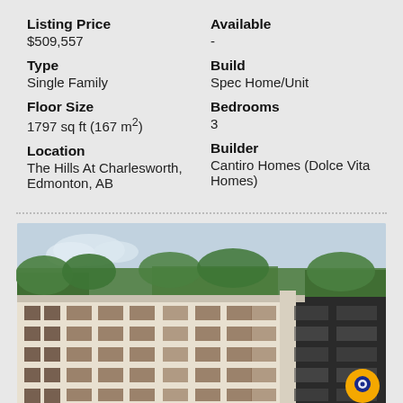Listing Price
$509,557
Available
-
Type
Single Family
Build
Spec Home/Unit
Floor Size
1797 sq ft (167 m²)
Bedrooms
3
Location
The Hills At Charlesworth, Edmonton, AB
Builder
Cantiro Homes (Dolce Vita Homes)
[Figure (photo): Exterior rendering of a multi-storey residential apartment building with cream/beige facade, brown window frames, and dark accents, surrounded by trees]